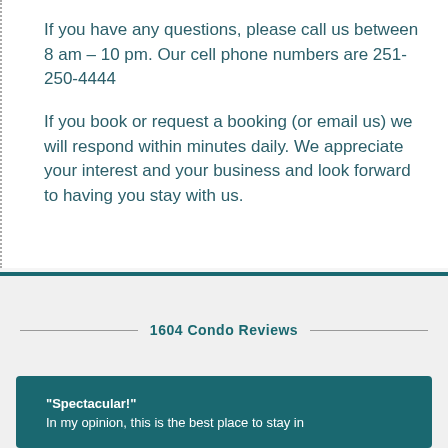If you have any questions, please call us between 8 am – 10 pm. Our cell phone numbers are 251-250-4444
If you book or request a booking (or email us) we will respond within minutes daily. We appreciate your interest and your business and look forward to having you stay with us.
1604 Condo Reviews
"Spectacular!" In my opinion, this is the best place to stay in